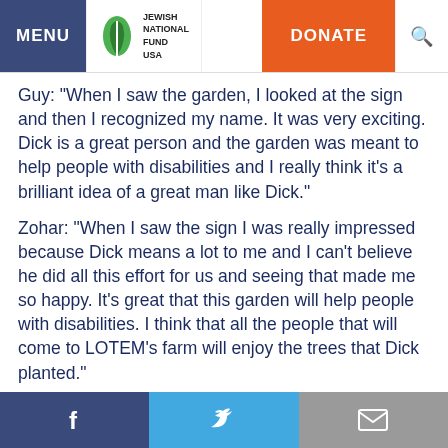[Figure (screenshot): Jewish National Fund USA website navigation bar with MENU button, JNF USA logo, DONATE button in orange, and search icon]
Guy: "When I saw the garden, I looked at the sign and then I recognized my name. It was very exciting. Dick is a great person and the garden was meant to help people with disabilities and I really think it's a brilliant idea of a great man like Dick."
Zohar: "When I saw the sign I was really impressed because Dick means a lot to me and I can't believe he did all this effort for us and seeing that made me so happy. It's great that this garden will help people with disabilities. I think that all the people that will come to LOTEM's farm will enjoy the trees that Dick planted."
The children who were honored will grow together with the baby olive trees and the garden will always serve
[Figure (screenshot): Social media share buttons footer bar with Facebook (dark blue), Twitter (light blue), and Email (grey) icons]